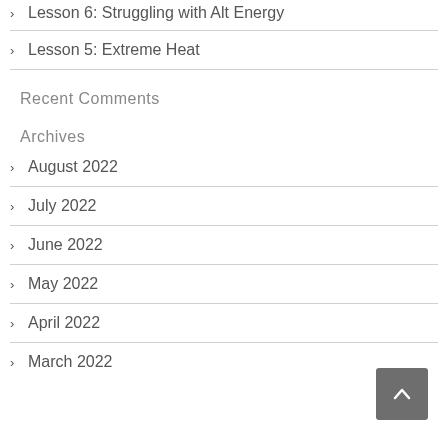Lesson 6: Struggling with Alt Energy
Lesson 5: Extreme Heat
Recent Comments
Archives
August 2022
July 2022
June 2022
May 2022
April 2022
March 2022